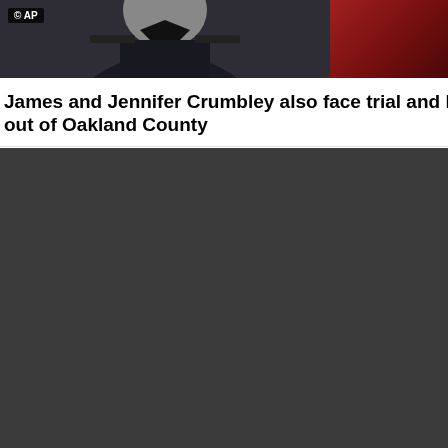[Figure (photo): Two side-by-side images: left shows a person in dark clothing with AP copyright watermark, right shows a dark red/maroon background]
James and Jennifer Crumbley also face trial and have recently reque out of Oakland County